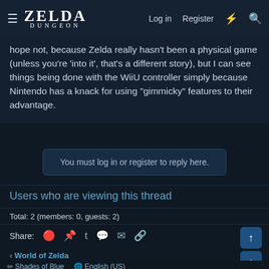ZELDA DUNGEON — Log in | Register
hope not, because Zelda really hasn't been a physical game (unless you're 'into it', that's a different story), but I can see things being done with the WiiU controller simply because Nintendo has a knack for using "gimmicky" features to their advantage.
You must log in or register to reply here.
Users who are viewing this thread
Total: 2 (members: 0, guests: 2)
Share:
< World of Zelda
Shades of Blue   English (US)   Contact us   Terms and rules   Privacy policy   Help   Home